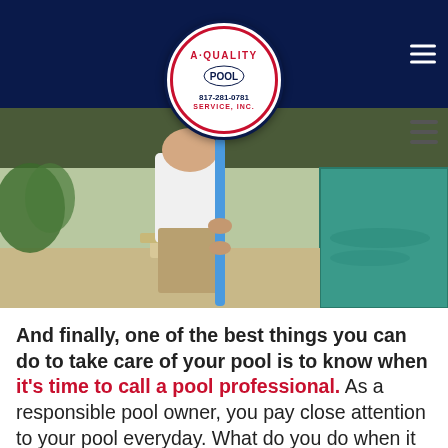A-Quality Pool Service Inc. 817-281-0781
[Figure (photo): A man in a white shirt and khaki shorts holding a blue pool cleaning pole, standing beside a pool]
And finally, one of the best things you can do to take care of your pool is to know when it's time to call a pool professional. As a responsible pool owner, you pay close attention to your pool everyday. What do you do when it seems like the pool is losing water? That water level can drop pretty quickly if